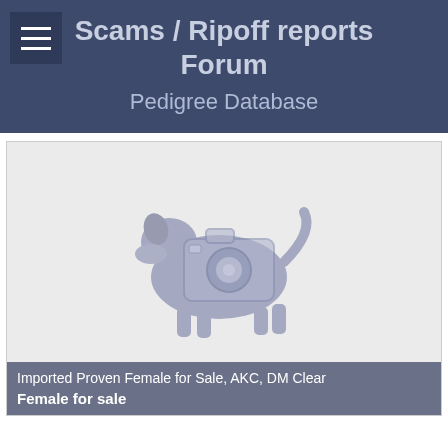Scams / Ripoff reports Forum
Pedigree Database
[Figure (illustration): A placeholder image showing a dog silhouette overlaid with a camera icon, in muted purple/blue tones on a light grey background]
Imported Proven Female for Sale, AKC, DM Clear
Female for sale